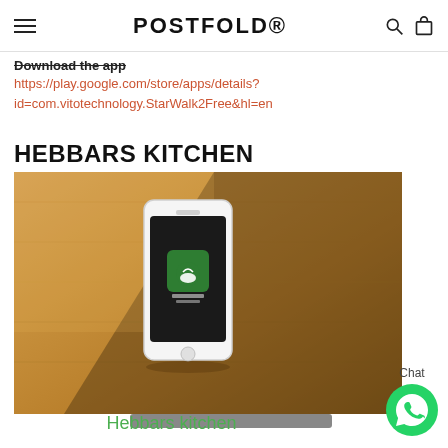POSTFOLD®
Download the app
https://play.google.com/store/apps/details?id=com.vitotechnology.StarWalk2Free&hl=en
HEBBARS KITCHEN
[Figure (photo): A smartphone with a green Hebbars Kitchen app icon displayed on its screen, placed on a wooden bamboo surface with light and shadow patterns.]
Hebbars kitchen